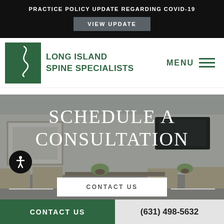PRACTICE POLICY UPDATE REGARDING COVID-19
VIEW UPDATE
[Figure (logo): Long Island Spine Specialists (LISS) logo — green square with white spine graphic, text LONG ISLAND SPINE SPECIALISTS beside it]
MENU
[Figure (photo): Medical office waiting room interior with TV mounted on wall, chairs, framed artwork, and potted plants]
SCHEDULE A CONSULTATION
CONTACT US
CONTACT US
(631) 498-5632